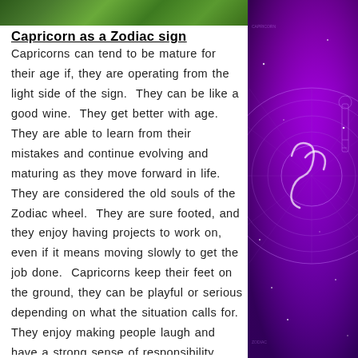[Figure (photo): Green nature/foliage photo strip at top of page]
[Figure (illustration): Purple zodiac/astrology decorative panel on the right side with constellation wheel and Capricorn symbol]
Capricorn as a Zodiac sign
Capricorns can tend to be mature for their age if, they are operating from the light side of the sign.  They can be like a good wine.  They get better with age.  They are able to learn from their mistakes and continue evolving and maturing as they move forward in life.  They are considered the old souls of the Zodiac wheel.  They are sure footed, and they enjoy having projects to work on, even if it means moving slowly to get the job done.  Capricorns keep their feet on the ground, they can be playful or serious depending on what the situation calls for.  They enjoy making people laugh and have a strong sense of responsibility.  They are dependable friends, and enjoy